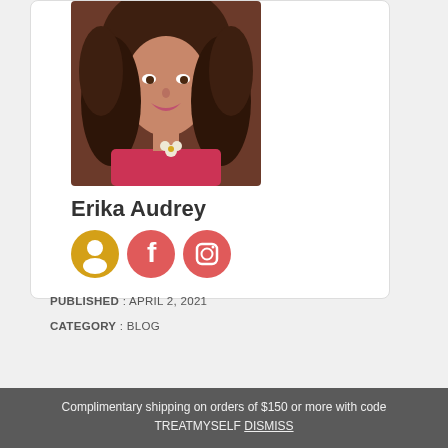[Figure (photo): Profile photo of Erika Audrey, a woman with long brown wavy hair]
Erika Audrey
[Figure (illustration): Three social media icons: profile/user icon (gold), Facebook icon (red-pink), Instagram icon (red-pink)]
PUBLISHED : APRIL 2, 2021
CATEGORY : BLOG
Complimentary shipping on orders of $150 or more with code TREATMYSELF DISMISS